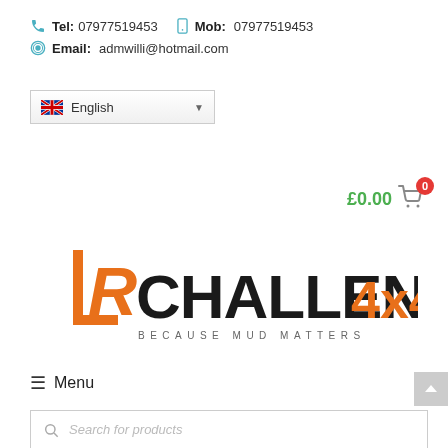Tel: 07977519453   Mob: 07977519453
Email: admwilli@hotmail.com
English (language selector)
£0.00 (cart with 0 items)
[Figure (logo): LR Challenge 4x4 logo with tagline BECAUSE MUD MATTERS]
≡ Menu
Search for products